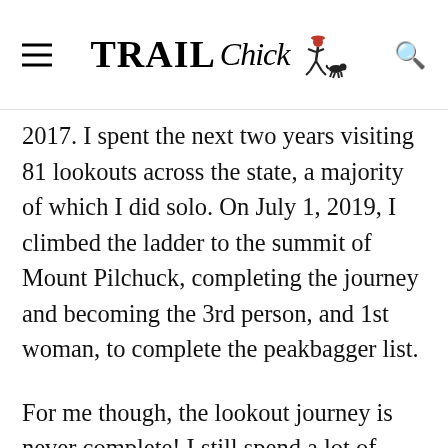TRAIL Chick [logo with figure illustration]
2017. I spent the next two years visiting 81 lookouts across the state, a majority of which I did solo. On July 1, 2019, I climbed the ladder to the summit of Mount Pilchuck, completing the journey and becoming the 3rd person, and 1st woman, to complete the peakbagger list.
For me though, the lookout journey is never complete! I still spend a lot of time visiting former lookout sites, maintaining our lookouts here in the Methow Valley, and even spent the 2021 fire season staffing Goat Peak outside